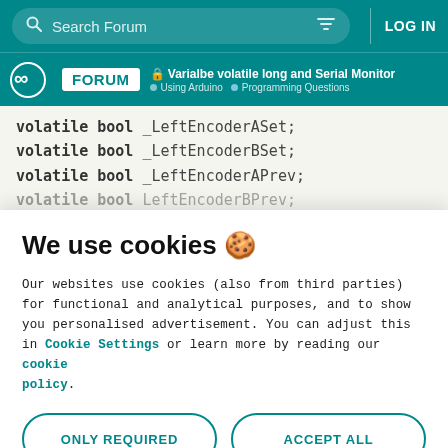Search Forum | LOG IN
Varialbe volatile long and Serial Monitor | Using Arduino | Programming Questions
volatile bool _LeftEncoderASet;
volatile bool _LeftEncoderBSet;
volatile bool _LeftEncoderAPrev;
volatile bool _LeftEncoderBPrev;
We use cookies 🍪
Our websites use cookies (also from third parties) for functional and analytical purposes, and to show you personalised advertisement. You can adjust this in Cookie Settings or learn more by reading our cookie policy.
ONLY REQUIRED
ACCEPT ALL